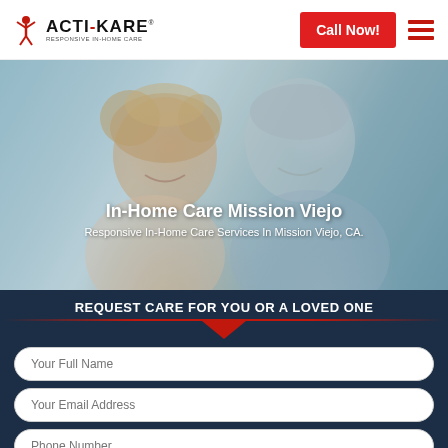[Figure (logo): Acti-Kare logo with stylized red figure icon and text 'ACTI-KARE RESPONSIVE IN-HOME CARE']
Call Now!
[Figure (photo): Smiling elderly couple, woman with curly blonde hair, man with silver hair, light blue background]
In-Home Care Mission Viejo
Responsive In-Home Care Services In Mission Viejo, CA.
REQUEST CARE FOR YOU OR A LOVED ONE
Your Full Name
Your Email Address
Phone Number
Zip Code